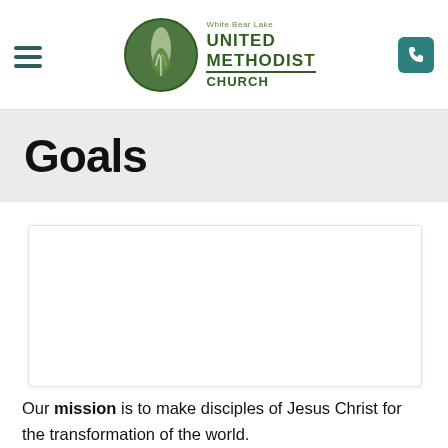White Bear Lake United Methodist Church
Goals
[Figure (other): Blank white card placeholder area]
Our mission is to make disciples of Jesus Christ for the transformation of the world.